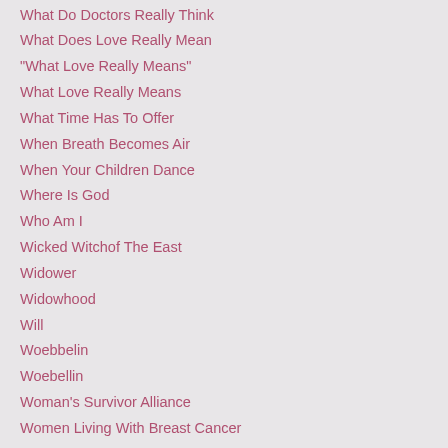What Do Doctors Really Think
What Does Love Really Mean
"What Love Really Means"
What Love Really Means
What Time Has To Offer
When Breath Becomes Air
When Your Children Dance
Where Is God
Who Am I
Wicked Witchof The East
Widower
Widowhood
Will
Woebbelin
Woebellin
Woman's Survivor Alliance
Women Living With Breast Cancer
Women's Health Watch
World Cancer Research Center
World Hospice and Palliative Care